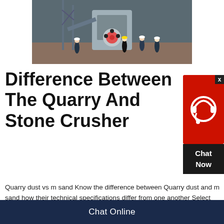[Figure (photo): Workers and machinery at a stone crusher / quarry construction site with industrial equipment]
Difference Between The Quarry And Stone Crusher
[Figure (other): Chat Now widget with headset icon in red and dark background]
Quarry dust vs m sand Know the difference between Quarry dust and m sand how their technical specifications differ from one another Select Store Karnataka Tamil Nadu No controlled manufacturing process as it is the biproduct of stone crusher Gradation As per IS 383 1970 Zone 2 passed Does not adhere to IS 383 1970 or any
Chat Online